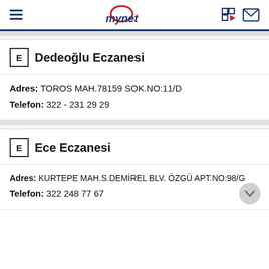mynet
Dedeoğlu Eczanesi
Adres: TOROS MAH.78159 SOK.NO:11/D
Telefon: 322 - 231 29 29
Ece Eczanesi
Adres: KURTEPE MAH.S.DEMİREL BLV. ÖZGÜ APT.NO:98/G
Telefon: 322 248 77 67